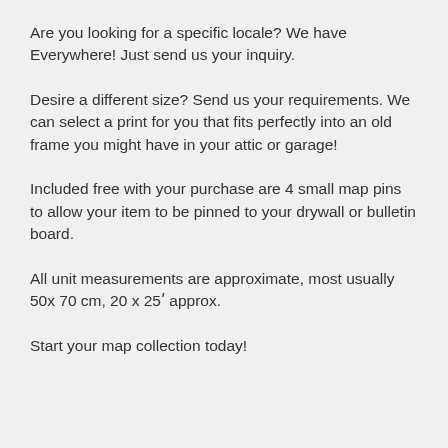Are you looking for a specific locale? We have Everywhere! Just send us your inquiry.
Desire a different size? Send us your requirements. We can select a print for you that fits perfectly into an old frame you might have in your attic or garage!
Included free with your purchase are 4 small map pins to allow your item to be pinned to your drywall or bulletin board.
All unit measurements are approximate, most usually 50x 70 cm, 20 x 25ʹ approx.
Start your map collection today!